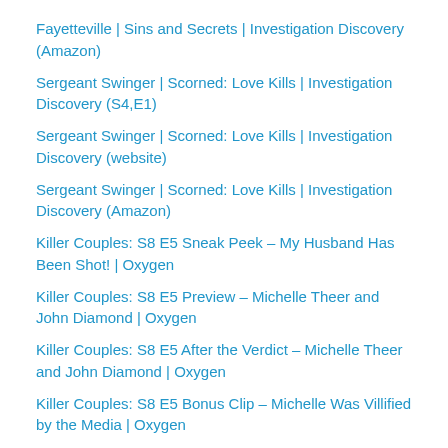Fayetteville | Sins and Secrets | Investigation Discovery (Amazon)
Sergeant Swinger | Scorned: Love Kills | Investigation Discovery (S4,E1)
Sergeant Swinger | Scorned: Love Kills | Investigation Discovery (website)
Sergeant Swinger | Scorned: Love Kills | Investigation Discovery (Amazon)
Killer Couples: S8 E5 Sneak Peek – My Husband Has Been Shot! | Oxygen
Killer Couples: S8 E5 Preview – Michelle Theer and John Diamond | Oxygen
Killer Couples: S8 E5 After the Verdict – Michelle Theer and John Diamond | Oxygen
Killer Couples: S8 E5 Bonus Clip – Michelle Was Villified by the Media | Oxygen